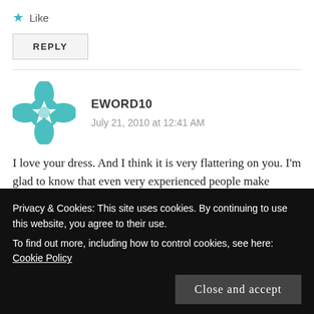★ Like
REPLY
EWORD10
July 21, 2010 at 12:41 AM
I love your dress. And I think it is very flattering on you. I'm glad to know that even very experienced people make mistakes sometimes. It somehow lessens the sting
Privacy & Cookies: This site uses cookies. By continuing to use this website, you agree to their use.
To find out more, including how to control cookies, see here: Cookie Policy
Close and accept